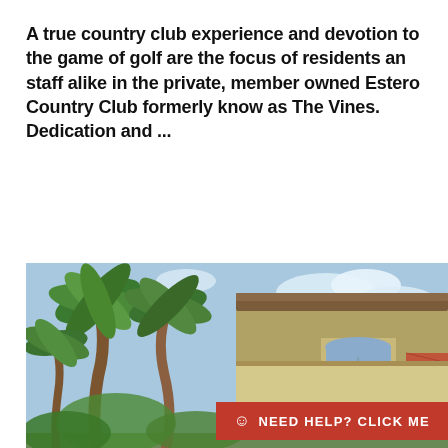A true country club experience and devotion to the game of golf are the focus of residents an staff alike in the private, member owned Estero Country Club formerly know as The Vines. Dedication and ...
[Figure (photo): Exterior photo of a Mediterranean-style building with palm trees in the foreground and a blue sky with clouds. A red help banner overlays the bottom-right corner reading 'NEED HELP? CLICK ME'.]